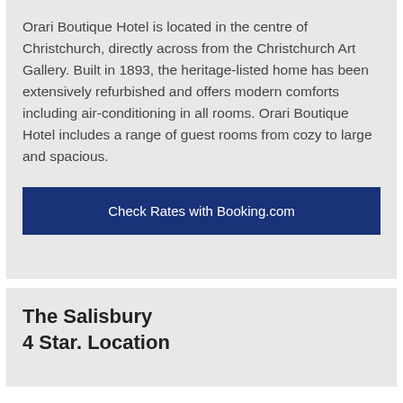Orari Boutique Hotel is located in the centre of Christchurch, directly across from the Christchurch Art Gallery. Built in 1893, the heritage-listed home has been extensively refurbished and offers modern comforts including air-conditioning in all rooms. Orari Boutique Hotel includes a range of guest rooms from cozy to large and spacious.
Check Rates with Booking.com
The Salisbury
4 Star. Location